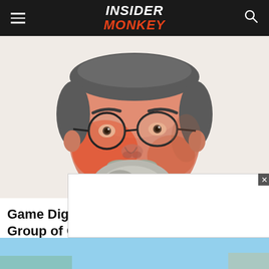INSIDER MONKEY
[Figure (illustration): Digital illustration/caricature of an older man with glasses, grey beard and mustache, wearing a dark suit and white shirt. Orange/red toned artistic style.]
Game Digital PLC (GMD), Paragon Group of Companies PLC (PAG), Global Real Estate...
[Figure (photo): Advertisement overlay box with close button, partially visible. Below is a partial photo of an outdoor scene with blue sky.]